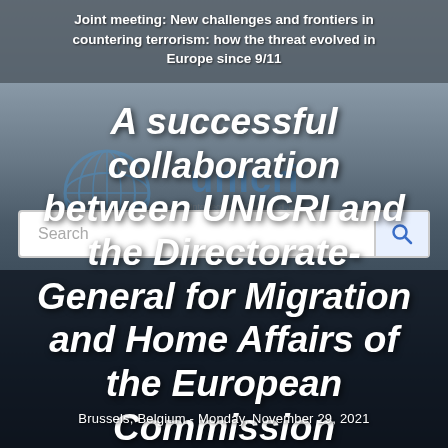Joint meeting: New challenges and frontiers in countering terrorism: how the threat evolved in Europe since 9/11
[Figure (screenshot): Website screenshot showing UNICRI (United Nations Interregional Crime and Justice Research Institute) page with a search bar and dark photographic background of a conference event. Faint UNICRI logo and UN emblem visible.]
A successful collaboration between UNICRI and the Directorate-General for Migration and Home Affairs of the European Commission
Brussels, Belgium - Monday, November 29, 2021